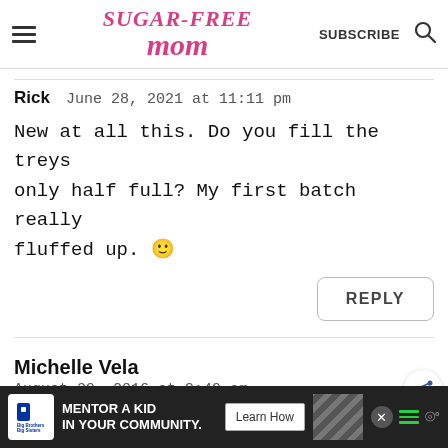Sugar-Free Mom — SUBSCRIBE
Rick   June 28, 2021 at 11:11 pm
New at all this. Do you fill the treys only half full? My first batch really fluffed up. 🙂
REPLY
Michelle Vela
August 29, 2016 at 9:49 am
[Figure (screenshot): Big Brothers Big Sisters advertisement banner: MENTOR A KID IN YOUR COMMUNITY. Learn How button.]